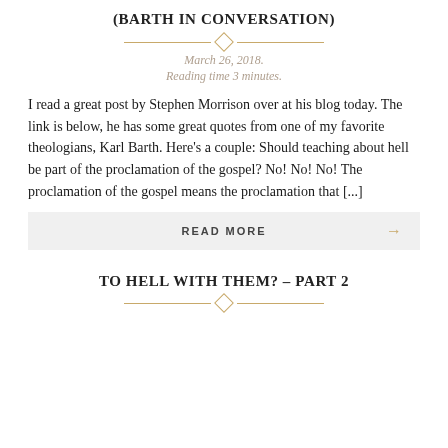(BARTH IN CONVERSATION)
March 26, 2018.
Reading time 3 minutes.
I read a great post by Stephen Morrison over at his blog today. The link is below, he has some great quotes from one of my favorite theologians, Karl Barth. Here’s a couple: Should teaching about hell be part of the proclamation of the gospel? No! No! No! The proclamation of the gospel means the proclamation that [...]
READ MORE →
TO HELL WITH THEM? – PART 2